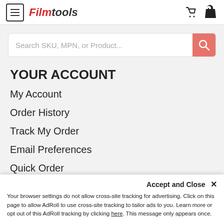[Figure (screenshot): Filmtools website header with hamburger menu, logo, phone and cart icons]
Search SKU, MPN, or Product...
YOUR ACCOUNT
My Account
Order History
Track My Order
Email Preferences
Quick Order
CUSTOMER SERVICE
Shipping & Delivery
Warehouse Pickup
Return Policy
Accept and Close ✕
Your browser settings do not allow cross-site tracking for advertising. Click on this page to allow AdRoll to use cross-site tracking to tailor ads to you. Learn more or opt out of this AdRoll tracking by clicking here. This message only appears once.